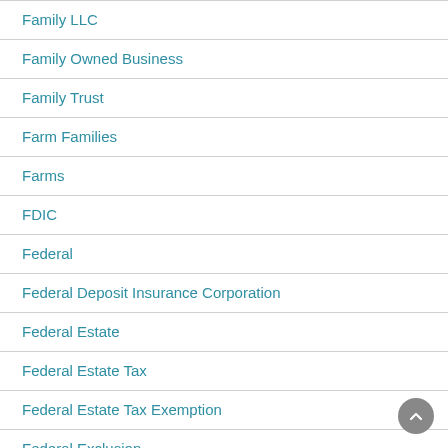Family LLC
Family Owned Business
Family Trust
Farm Families
Farms
FDIC
Federal
Federal Deposit Insurance Corporation
Federal Estate
Federal Estate Tax
Federal Estate Tax Exemption
Federal Exclusion